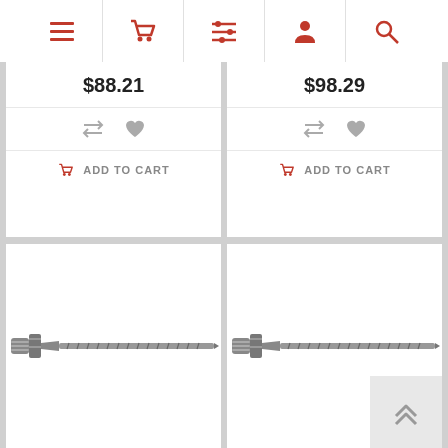[Figure (screenshot): Navigation bar with menu, cart, filter, user, and search icons]
$88.21
$98.29
ADD TO CART
ADD TO CART
[Figure (photo): Drill bit / SDS drill bit product image, left column]
[Figure (photo): Drill bit / SDS drill bit product image, right column]